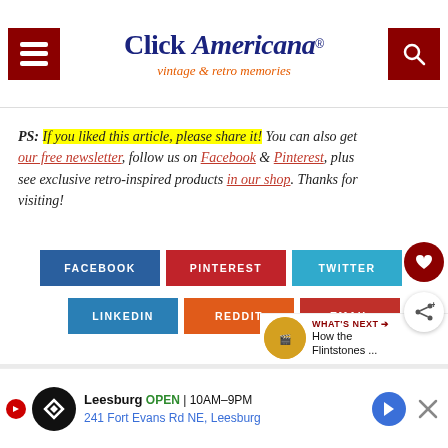Click Americana — vintage & retro memories
PS: If you liked this article, please share it! You can also get our free newsletter, follow us on Facebook & Pinterest, plus see exclusive retro-inspired products in our shop. Thanks for visiting!
[Figure (infographic): Social sharing buttons: Facebook (blue), Pinterest (red), Twitter (light blue), LinkedIn (blue), Reddit (orange), Email (red), with heart and share icons]
[Figure (infographic): What's Next panel showing How the Flintstones... with circular thumbnail]
You might also like...
[Figure (infographic): Advertisement bar: Leesburg OPEN 10AM-9PM, 241 Fort Evans Rd NE, Leesburg]